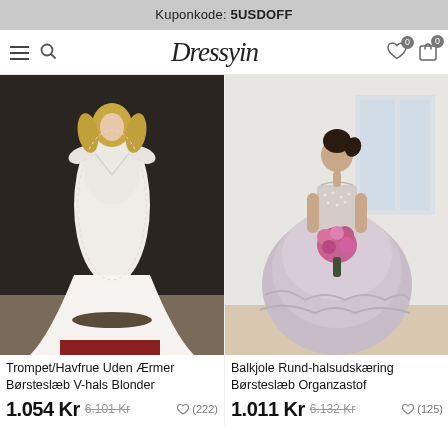Kuponkode: 5USDOFF
[Figure (screenshot): Dressyin e-commerce navigation bar with hamburger menu, search icon, logo, heart icon with badge 0, and cart icon with badge 0]
[Figure (photo): Woman wearing a white mermaid/trumpet style sleeveless lace bridal gown with V-neck and sweep/brush train in a bridal shop]
Trompet/Havfrue Uden Ærmer Børsteslæb V-hals Blonder
1.054 Kr  6.101 Kr  ♡ (222)
[Figure (photo): Woman wearing a ball gown with beaded bodice, round neckline, organza layered skirt in lavender/grey, holding pink flower bouquet]
Balkjole Rund-halsudskæring Børsteslæb Organzastof
1.011 Kr  6.132 Kr  ♡ (125)